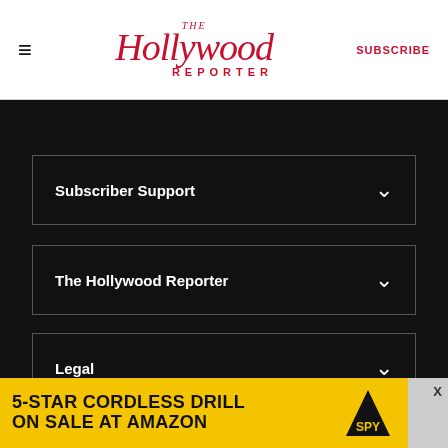The Hollywood Reporter | SUBSCRIBE
Subscriber Support
The Hollywood Reporter
Legal
Follow Us
[Figure (infographic): Social media icons: Facebook, Twitter, Instagram, YouTube]
[Figure (infographic): Advertisement banner: 5-STAR CORDLESS DRILL ON SALE AT AMAZON with SPY logo on yellow background]